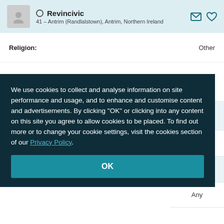Revincivic — 41 – Antrim (Randlalstown), Antrim, Northern Ireland
Religion: Other
We use cookies to collect and analyse information on site performance and usage, and to enhance and customise content and advertisements. By clicking "OK" or clicking into any content on this site you agree to allow cookies to be placed. To find out more or to change your cookie settings, visit the cookies section of our Privacy Policy.
the World
strict BT41 (Antrim)
Female
25 - 45
Any